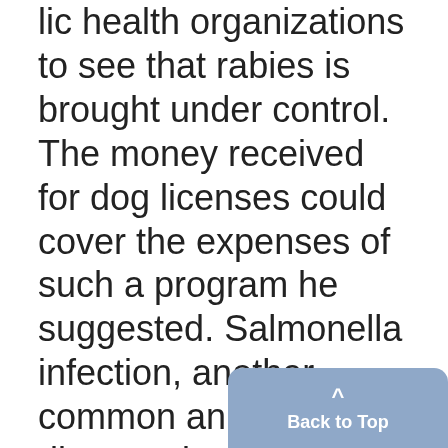lic health organizations to see that rabies is brought under control. The money received for dog licenses could cover the expenses of such a program he suggested. Salmonella infection, another common animal disease, is transmitted to man by cattle, hogs, rats, mice, and a number of other animals, attacking the gastrointestinal tract, Dr. Meyer said. He also indicated bovine tuberculosis as a disease which can be contracted by man. This disease not only